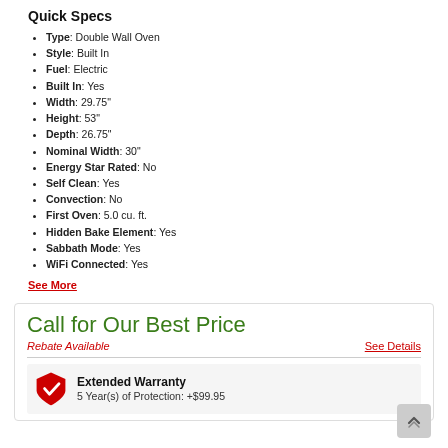Quick Specs
Type: Double Wall Oven
Style: Built In
Fuel: Electric
Built In: Yes
Width: 29.75"
Height: 53"
Depth: 26.75"
Nominal Width: 30"
Energy Star Rated: No
Self Clean: Yes
Convection: No
First Oven: 5.0 cu. ft.
Hidden Bake Element: Yes
Sabbath Mode: Yes
WiFi Connected: Yes
See More
Call for Our Best Price
Rebate Available
See Details
Extended Warranty
5 Year(s) of Protection: +$99.95